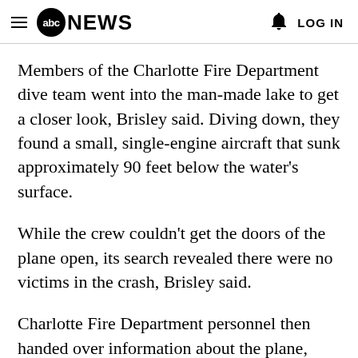abc NEWS   LOG IN
Members of the Charlotte Fire Department dive team went into the man-made lake to get a closer look, Brisley said. Diving down, they found a small, single-engine aircraft that sunk approximately 90 feet below the water's surface.
While the crew couldn't get the doors of the plane open, its search revealed there were no victims in the crash, Brisley said.
Charlotte Fire Department personnel then handed over information about the plane, including its tail number, to the Federal